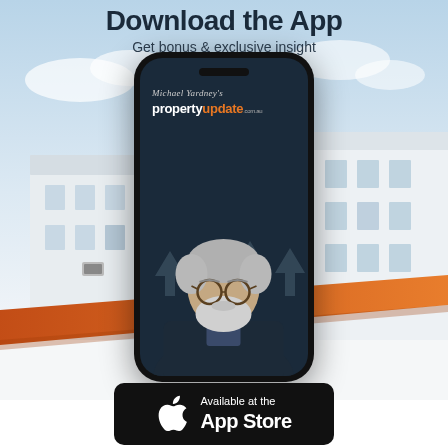Download the App
Get bonus & exclusive insight
[Figure (illustration): Smartphone mockup showing Michael Yardney's propertyupdate.com.au app with a photo of an older man with white hair and beard, against a background of a modern white building and sky with orange diagonal ribbon design element]
[Figure (logo): Apple App Store badge — black rounded rectangle with Apple logo and text 'Available at the App Store']